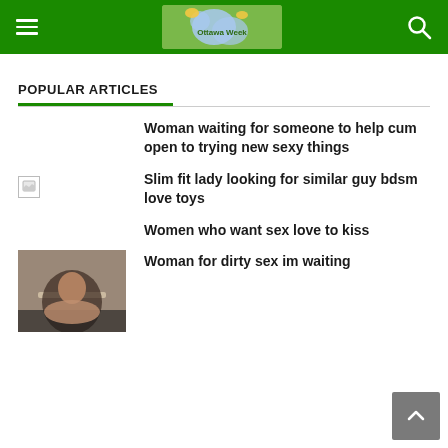Ottawa Week [header with hamburger menu and search icon]
POPULAR ARTICLES
Woman waiting for someone to help cum open to trying new sexy things
Slim fit lady looking for similar guy bdsm love toys
Women who want sex love to kiss
Woman for dirty sex im waiting